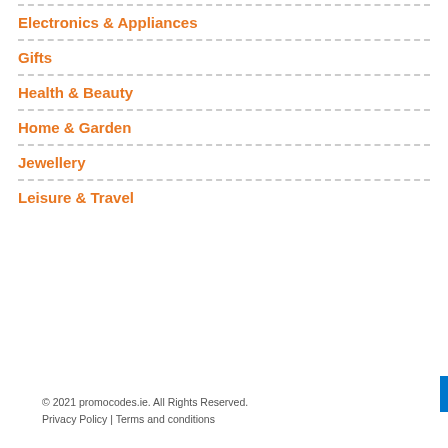Electronics & Appliances
Gifts
Health & Beauty
Home & Garden
Jewellery
Leisure & Travel
© 2021 promocodes.ie. All Rights Reserved.
Privacy Policy | Terms and conditions